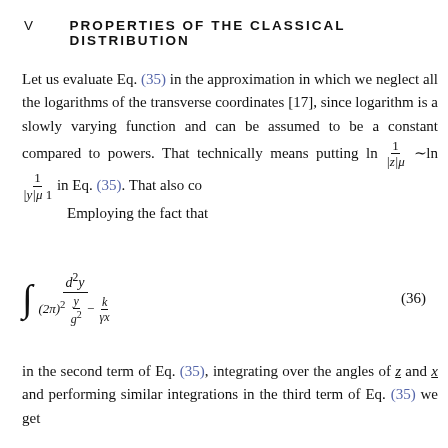V   PROPERTIES OF THE CLASSICAL DISTRIBUTION
Let us evaluate Eq. (35) in the approximation in which we neglect all the logarithms of the transverse coordinates [17], since logarithm is a slowly varying function and can be assumed to be a constant compared to powers. That technically means putting ln 1/|z|μ ~ ln 1/|y|μ 1 in Eq. (35). That also co... Employing the fact that
in the second term of Eq. (35), integrating over the angles of z and x and performing similar integrations in the third term of Eq. (35) we get